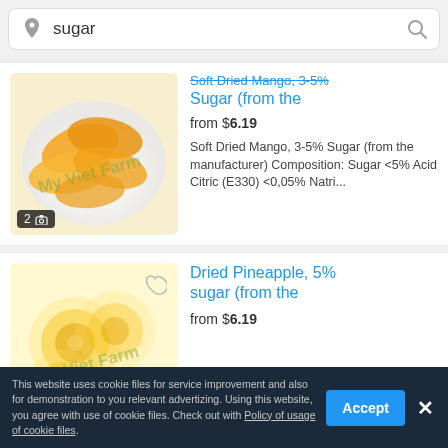[Figure (screenshot): Search bar with location pin icon, text 'sugar', and magnifying glass search icon]
[Figure (photo): Product listing card: Soft Dried Mango with 3-5% Sugar from My Viet Farm, showing mango slices on a white plate with watermark]
Sugar (from the
from $6.19
Soft Dried Mango, 3-5% Sugar (from the manufacturer) Composition: Sugar <5% Acid Citric (E330) <0,05% Natri...
[Figure (photo): Product listing card: Dried Pineapple with 5% sugar from My Viet Farm showing pineapple rings with watermark]
Dried Pineapple, 5% sugar (from the
from $6.19
This website uses cookie files for service improvement and also for demonstration to you relevant advertizing. Using this website, you agree with use of cookie files. Check out with Policy of usage of cookie files.
Accept